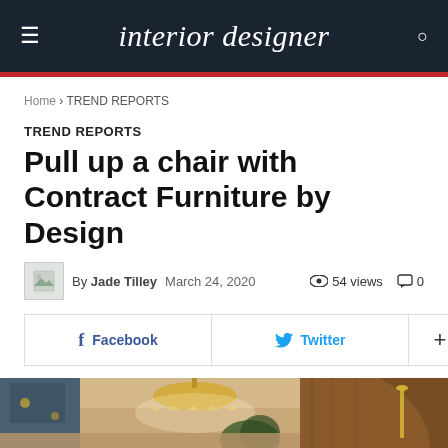interior designer
Home › TREND REPORTS
TREND REPORTS
Pull up a chair with Contract Furniture by Design
By Jade Tilley  March 24, 2020  54 views  0
Facebook  Twitter  +
[Figure (photo): Interior of a stylish restaurant or lounge space with warm lighting, pendant chandeliers, wooden paneling, and decorative candlesticks]